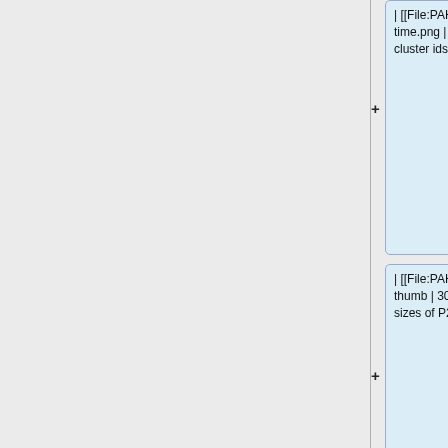| [[File:PAH P281L cluster id over time.png | thumb | 300px | Figure 55: cluster ids over time of P281L]]
| [[File:PAH P281L cluster sizes.png | thumb | 300px | Figure 56: cluster sizes of P281L]]
| [[File:PAH P281L cluster transitions.png | thumb | 300px | Figure 57: cluster transitions of P281L]]
|}
==== Distance RMSD ====